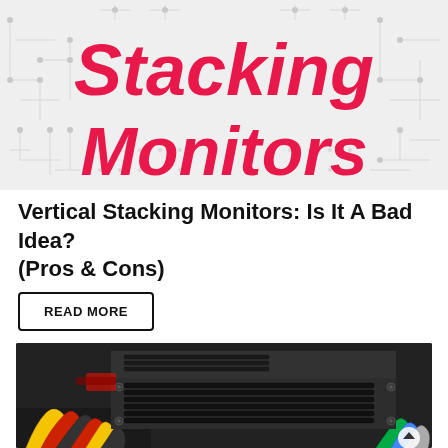[Figure (logo): Stacking Monitors website logo with red italic bold text on light gray circuit board pattern background]
Vertical Stacking Monitors: Is It A Bad Idea? (Pros & Cons)
READ MORE
[Figure (photo): Close-up photo of a black PC power supply unit (PSU) with ventilation grilles and colorful power cables (red, yellow, black) visible below it, inside a computer case]